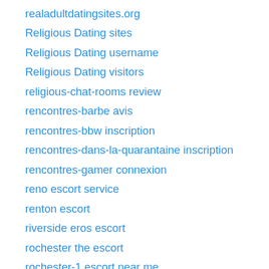realadultdatingsites.org
Religious Dating sites
Religious Dating username
Religious Dating visitors
religious-chat-rooms review
rencontres-barbe avis
rencontres-bbw inscription
rencontres-dans-la-quarantaine inscription
rencontres-gamer connexion
reno escort service
renton escort
riverside eros escort
rochester the escort
rochester-1 escort near me
rockford escort